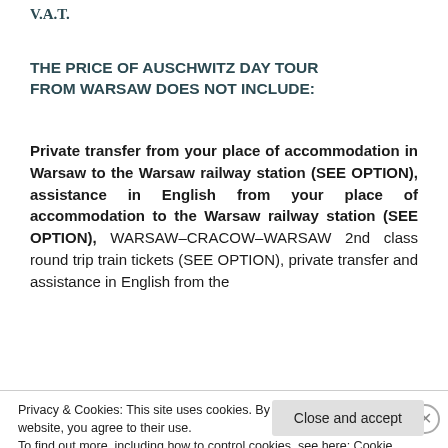V.A.T.
THE PRICE OF AUSCHWITZ DAY TOUR FROM WARSAW DOES NOT INCLUDE:
Private transfer from your place of accommodation in Warsaw to the Warsaw railway station (SEE OPTION), assistance in English from your place of accommodation to the Warsaw railway station (SEE OPTION), WARSAW–CRACOW–WARSAW 2nd class round trip train tickets (SEE OPTION), private transfer and assistance in English from the
Privacy & Cookies: This site uses cookies. By continuing to use this website, you agree to their use.
To find out more, including how to control cookies, see here: Cookie Policy